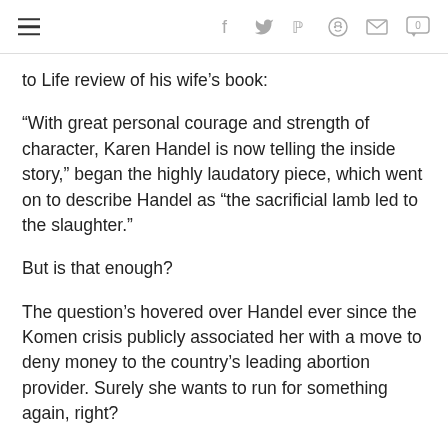Social navigation header with hamburger menu and icons: f, Twitter, Pinterest, Reddit, Mail, Comment (0)
to Life review of his wife’s book:
“With great personal courage and strength of character, Karen Handel is now telling the inside story,” began the highly laudatory piece, which went on to describe Handel as “the sacrificial lamb led to the slaughter.”
But is that enough?
The question’s hovered over Handel ever since the Komen crisis publicly associated her with a move to deny money to the country’s leading abortion provider. Surely she wants to run for something again, right?